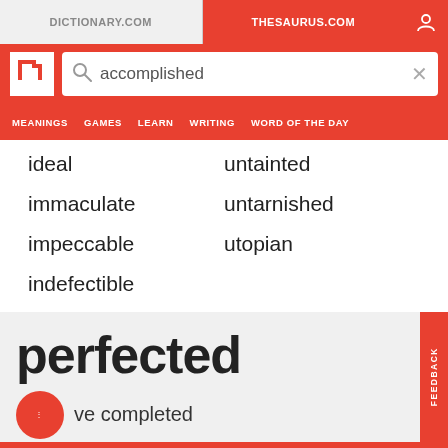DICTIONARY.COM | THESAURUS.COM
[Figure (screenshot): Thesaurus.com website header with logo and search bar showing 'accomplished']
MEANINGS   GAMES   LEARN   WRITING   WORD OF THE DAY
ideal
untainted
immaculate
untarnished
impeccable
utopian
indefectible
perfected
have completed